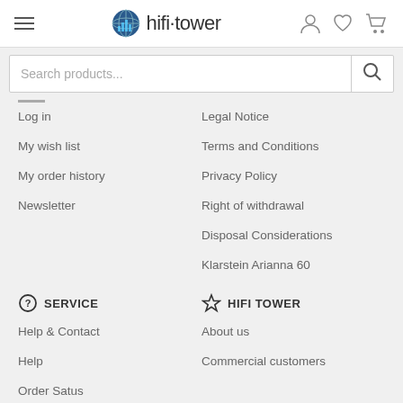hifi-tower
Log in
My wish list
My order history
Newsletter
Legal Notice
Terms and Conditions
Privacy Policy
Right of withdrawal
Disposal Considerations
Klarstein Arianna 60
SERVICE
Help & Contact
Help
Order Satus
Register a return
HIFI TOWER
About us
Commercial customers
OUR BRAND SHOP